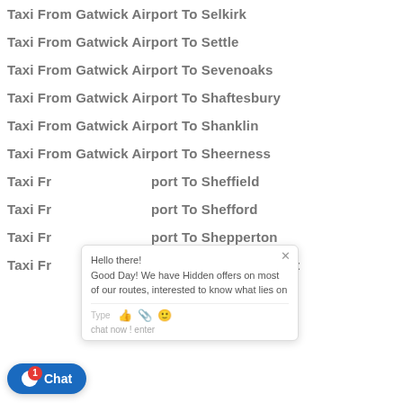Taxi From Gatwick Airport To Selkirk
Taxi From Gatwick Airport To Settle
Taxi From Gatwick Airport To Sevenoaks
Taxi From Gatwick Airport To Shaftesbury
Taxi From Gatwick Airport To Shanklin
Taxi From Gatwick Airport To Sheerness
Taxi From Gatwick Airport To Sheffield
Taxi From Gatwick Airport To Shefford
Taxi From Gatwick Airport To Shepperton
Taxi From Gatwick Airport To Shepton-Mallet
Taxi From Gatwick Airport To Sherborne